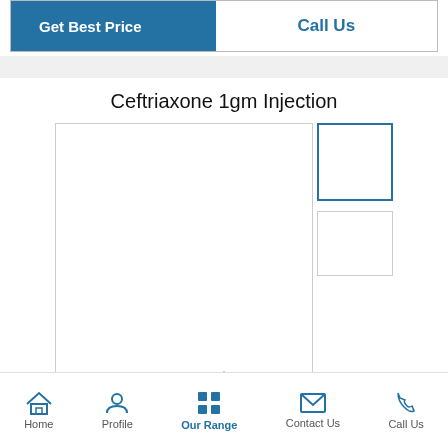Get Best Price
Call Us
Ceftriaxone 1gm Injection
[Figure (photo): Product image area for Ceftriaxone 1gm Injection with main image box and two thumbnail boxes on the right]
Approx ... / Piece
Home | Profile | Our Range | Contact Us | Call Us